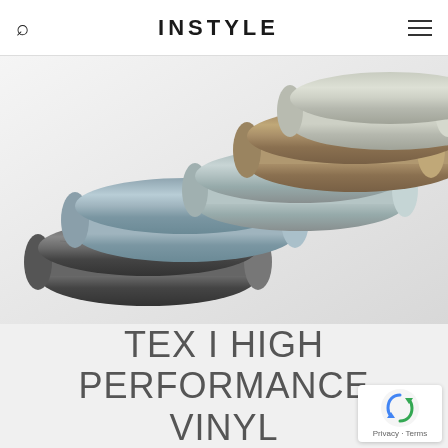INSTYLE
[Figure (photo): Five fabric sample rolls arranged diagonally on a white surface. Colors include dark charcoal gray, medium gray-blue, light gray, tan/khaki, and light cream/beige. The rolls show a textured vinyl/fabric material.]
TEX I HIGH PERFORMANCE VINYL